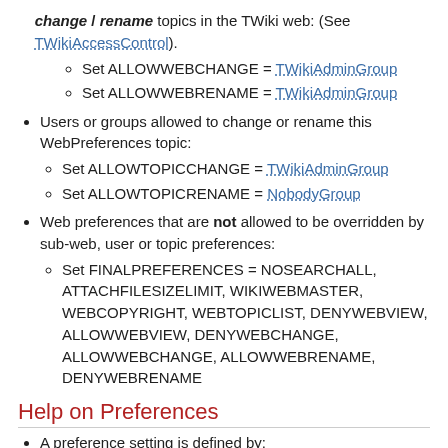change / rename topics in the TWiki web: (See TWikiAccessControl).
Set ALLOWWEBCHANGE = TWikiAdminGroup
Set ALLOWWEBRENAME = TWikiAdminGroup
Users or groups allowed to change or rename this WebPreferences topic:
Set ALLOWTOPICCHANGE = TWikiAdminGroup
Set ALLOWTOPICRENAME = NobodyGroup
Web preferences that are not allowed to be overridden by sub-web, user or topic preferences:
Set FINALPREFERENCES = NOSEARCHALL, ATTACHFILESIZELIMIT, WIKIWEBMASTER, WEBCOPYRIGHT, WEBTOPICLIST, DENYWEBVIEW, ALLOWWEBVIEW, DENYWEBCHANGE, ALLOWWEBCHANGE, ALLOWWEBRENAME, DENYWEBRENAME
Help on Preferences
A preference setting is defined by:
3 or 6 spaces * Set NAME = value